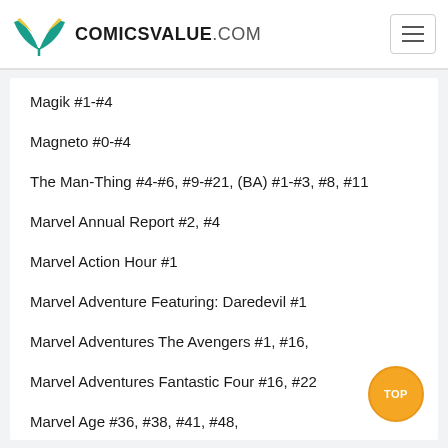COMICSVALUE.COM
Magik #1-#4
Magneto #0-#4
The Man-Thing #4-#6, #9-#21, (BA) #1-#3, #8, #11
Marvel Annual Report #2, #4
Marvel Action Hour #1
Marvel Adventure Featuring: Daredevil #1
Marvel Adventures The Avengers #1, #16,
Marvel Adventures Fantastic Four #16, #22
Marvel Age #36, #38, #41, #48,
Marvel Spotlight #19, #21, #22, #26, #27